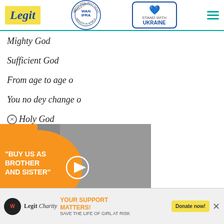Legit | WAN-IFRA Best News Website in Africa 2021 | Stand With Ukraine
Mighty God
Sufficient God
From age to age o
You no dey change o
Holy God
[Figure (screenshot): Video thumbnail showing two people with orange bubble text reading 'BUY US AS BROTHER AND SISTER' with a play button overlay]
[Figure (infographic): Advertisement banner: YOUR SUPPORT MATTERS! SAVE THE LIFE OF GIRL AT RISK - Legit Charity / WARF with Donate now button]